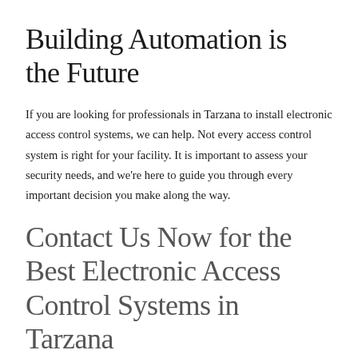Building Automation is the Future
If you are looking for professionals in Tarzana to install electronic access control systems, we can help. Not every access control system is right for your facility. It is important to assess your security needs, and we’re here to guide you through every important decision you make along the way.
Contact Us Now for the Best Electronic Access Control Systems in Tarzana